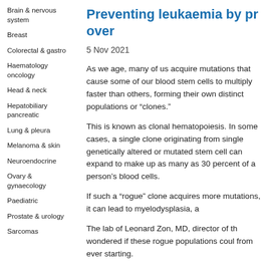Brain & nervous system
Breast
Colorectal & gastro
Haematology oncology
Head & neck
Hepatobiliary pancreatic
Lung & pleura
Melanoma & skin
Neuroendocrine
Ovary & gynaecology
Paediatric
Prostate & urology
Sarcomas
Preventing leukaemia by pr over
5 Nov 2021
As we age, many of us acquire mutations that cause some of our blood stem cells to multiply faster than others, forming their own distinct populations or “clones.”
This is known as clonal hematopoiesis. In some cases, a single clone originating from single genetically altered or mutated stem cell can expand to make up as many as 30 percent of a person’s blood cells.
If such a “rogue” clone acquires more mutations, it can lead to myelodysplasia, a
The lab of Leonard Zon, MD, director of th wondered if these rogue populations coul from ever starting.